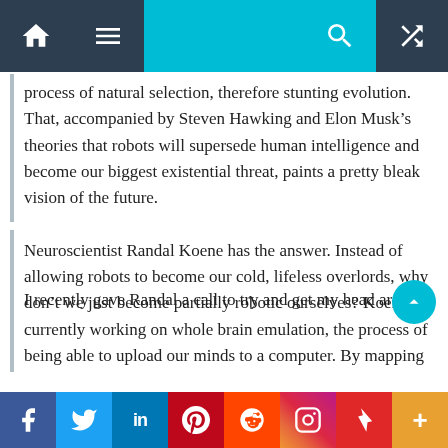Navigation bar with home, menu, search, and shuffle icons
process of natural selection, therefore stunting evolution. That, accompanied by Steven Hawking and Elon Musk’s theories that robots will supersede human intelligence and become our biggest existential threat, paints a pretty bleak vision of the future.
Neuroscientist Randal Koene has the answer. Instead of allowing robots to become our cold, lifeless overlords, why don’t we just become partially robotic ourselves? Koene is currently working on whole brain emulation, the process of being able to upload our minds to a computer. By mapping the brain, figuring out its mechanisms and replicating this activity in code, humans could-theoretically-live on indefinitely.
I recently gave Randal a call to try and get my head around
Social share bar: Facebook, Twitter, LinkedIn, Pinterest, Reddit, Instagram, Flipboard, More